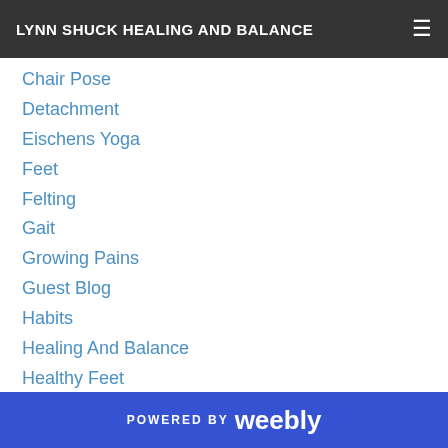LYNN SHUCK HEALING AND BALANCE
Chair Pose
Detachment
Eischens Yoga
Feet
Felting
Gait
Growing Pains
Guest Blog
Habits
Healing And Balance
Healthy Feet
High Holidays
Hooping
Jewish New Year
Joint Health
POWERED BY weebly